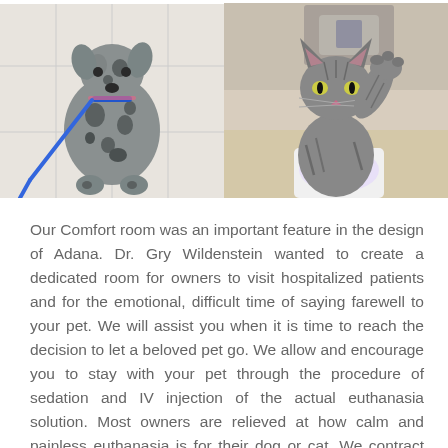[Figure (photo): A spotted/merle dog on a blue leash sitting in a veterinary clinic with white tile floors]
[Figure (photo): A gray tabby cat raising its paw, sitting on an exam table in a veterinary clinic]
Our Comfort room was an important feature in the design of Adana. Dr. Gry Wildenstein wanted to create a dedicated room for owners to visit hospitalized patients and for the emotional, difficult time of saying farewell to your pet. We will assist you when it is time to reach the decision to let a beloved pet go. We allow and encourage you to stay with your pet through the procedure of sedation and IV injection of the actual euthanasia solution. Most owners are relieved at how calm and painless euthanasia is for their dog or cat. We contract with a well respected pet cremation